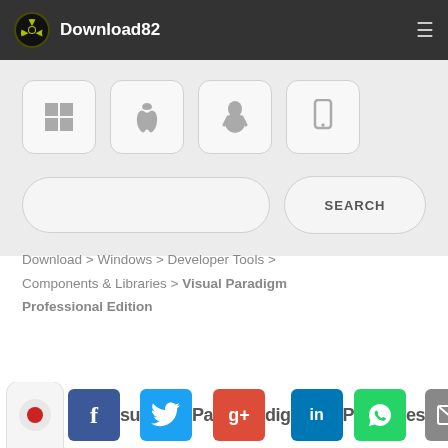Download82
[Figure (screenshot): Platform selector buttons: Windows, Apple/Mac, Linux, Mobile]
[Figure (screenshot): Search input box and SEARCH button]
Download > Windows > Developer Tools > Components & Libraries > Visual Paradigm Professional Edition
[Figure (screenshot): Social share icons: Facebook, Twitter, Google+, LinkedIn, WhatsApp, Email, and partial app name text 'su...Parradig P...es...nal']